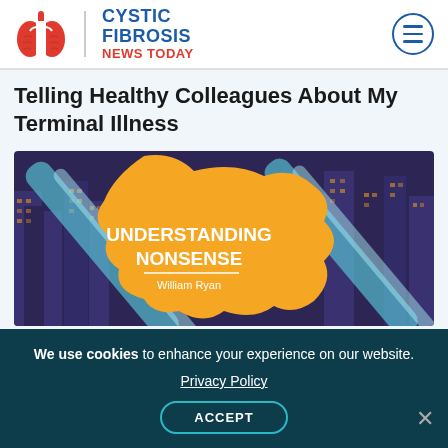Cystic Fibrosis News Today
Telling Healthy Colleagues About My Terminal Illness
[Figure (illustration): Illustrated book cover showing 'Understanding Nonsense' by William Ryan with a stylized silhouette in orange against a dark city background with blue diagonal streaks]
We use cookies to enhance your experience on our website. Privacy Policy ACCEPT